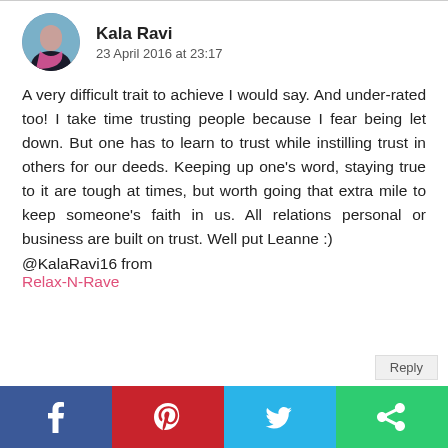[Figure (photo): Circular avatar photo of Kala Ravi]
Kala Ravi
23 April 2016 at 23:17
A very difficult trait to achieve I would say. And under-rated too! I take time trusting people because I fear being let down. But one has to learn to trust while instilling trust in others for our deeds. Keeping up one's word, staying true to it are tough at times, but worth going that extra mile to keep someone's faith in us. All relations personal or business are built on trust. Well put Leanne :)
@KalaRavi16 from
Relax-N-Rave
[Figure (infographic): Social sharing bar with Facebook, Pinterest, Twitter, and share icons]